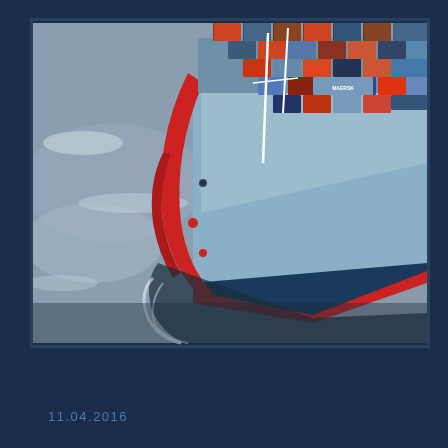[Figure (photo): Aerial view of a large container ship (Maersk-style) sailing on open sea, bow facing toward viewer, loaded with colorful shipping containers (blue, red, orange, grey). Ship has a red hull at the bow, light blue hull sides, and white wake at the stern. Ocean water is grey-blue.]
11.04.2016